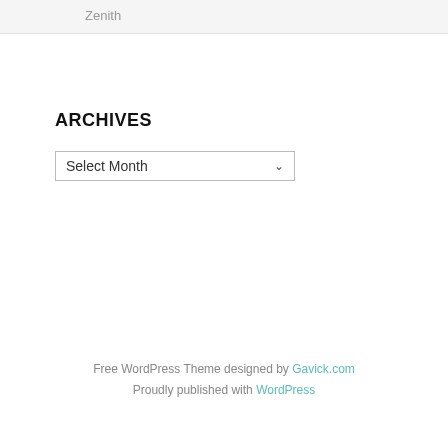Zenith
ARCHIVES
Select Month
Free WordPress Theme designed by Gavick.com
Proudly published with WordPress